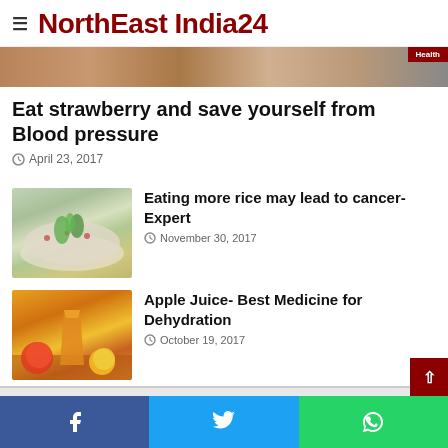NorthEast India24
[Figure (photo): Hero image strip showing food/health related imagery with Health badge]
Eat strawberry and save yourself from Blood pressure
April 23, 2017
[Figure (photo): Plate of rice with herbs and vegetables garnish]
Eating more rice may lead to cancer- Expert
November 30, 2017
[Figure (photo): Glass of apple juice with apples on wooden surface]
Apple Juice- Best Medicine for Dehydration
October 19, 2017
Facebook share | Twitter share | WhatsApp share